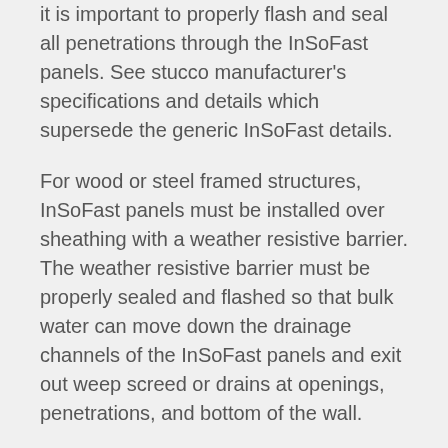it is important to properly flash and seal all penetrations through the InSoFast panels. See stucco manufacturer's specifications and details which supersede the generic InSoFast details.
For wood or steel framed structures, InSoFast panels must be installed over sheathing with a weather resistive barrier. The weather resistive barrier must be properly sealed and flashed so that bulk water can move down the drainage channels of the InSoFast panels and exit out weep screed or drains at openings, penetrations, and bottom of the wall.
For concrete or masonry CMU walls, follow local building codes and stucco manufacturer's instructions for proper flashing and sealants. Make sure to properly manage bulk water from the drainage channels into weep screeds or drains at openings, penetrations, and bottom of the wall.